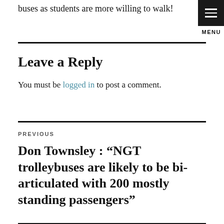buses as students are more willing to walk!
Leave a Reply
You must be logged in to post a comment.
PREVIOUS
Don Townsley : “NGT trolleybuses are likely to be bi-articulated with 200 mostly standing passengers”